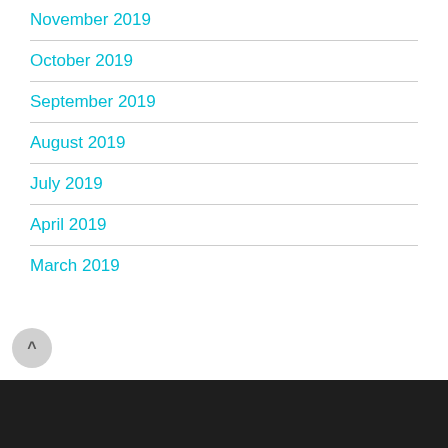November 2019
October 2019
September 2019
August 2019
July 2019
April 2019
March 2019
^